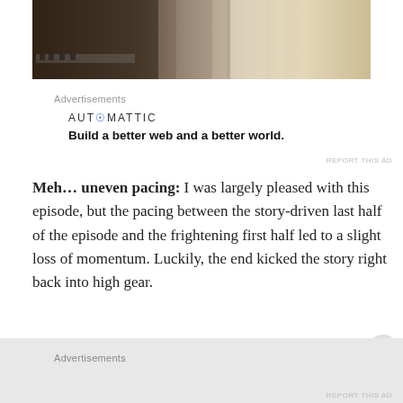[Figure (photo): Partial photo of a person in a white shirt and striped tie, with a piano visible in the background, cropped at top of page]
Advertisements
[Figure (logo): Automattic logo with tagline: Build a better web and a better world.]
REPORT THIS AD
Meh... uneven pacing: I was largely pleased with this episode, but the pacing between the story-driven last half of the episode and the frightening first half led to a slight loss of momentum. Luckily, the end kicked the story right back into high gear.
Advertisements
REPORT THIS AD